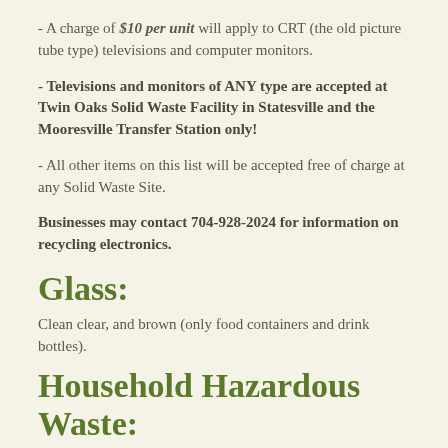- A charge of $10 per unit will apply to CRT (the old picture tube type) televisions and computer monitors.
- Televisions and monitors of ANY type are accepted at Twin Oaks Solid Waste Facility in Statesville and the Mooresville Transfer Station only!
- All other items on this list will be accepted free of charge at any Solid Waste Site.
Businesses may contact 704-928-2024 for information on recycling electronics.
Glass:
Clean clear, and brown (only food containers and drink bottles).
Household Hazardous Waste:
A household hazardous waste day is held twice a year -